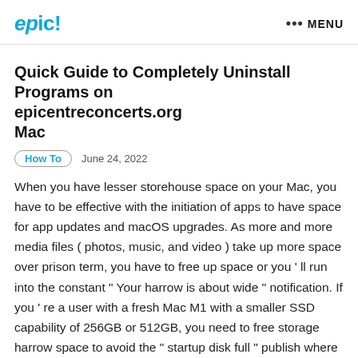epic! ••• MENU
Quick Guide to Completely Uninstall Programs on epicentreconcerts.org Mac
How To   June 24, 2022
When you have lesser storehouse space on your Mac, you have to be effective with the initiation of apps to have space for app updates and macOS upgrades. As more and more media files ( photos, music, and video ) take up more space over prison term, you have to free up space or you ' ll run into the constant " Your harrow is about wide " notification. If you ' re a user with a fresh Mac M1 with a smaller SSD capability of 256GB or 512GB, you need to free storage harrow space to avoid the " startup disk full " publish where you can ' t start up your Mac because the disk storehouse is about